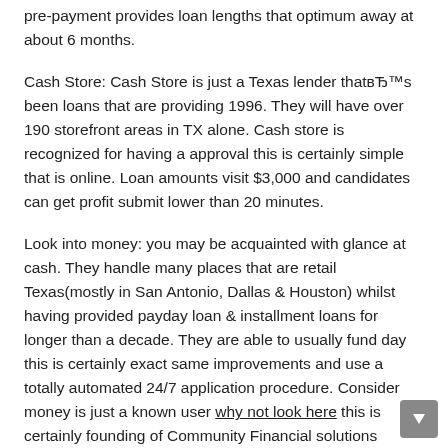pre-payment provides loan lengths that optimum away at about 6 months.
Cash Store: Cash Store is just a Texas lender thatвЂ™s been loans that are providing 1996. They will have over 190 storefront areas in TX alone. Cash store is recognized for having a approval this is certainly simple that is online. Loan amounts visit $3,000 and candidates can get profit submit lower than 20 minutes.
Look into money: you may be acquainted with glance at cash. They handle many places that are retail Texas(mostly in San Antonio, Dallas & Houston) whilst having provided payday loan & installment loans for longer than a decade. They are able to usually fund day this is certainly exact same improvements and use a totally automated 24/7 application procedure. Consider money is just a known user why not look here this is certainly founding of Community Financial solutions Association.